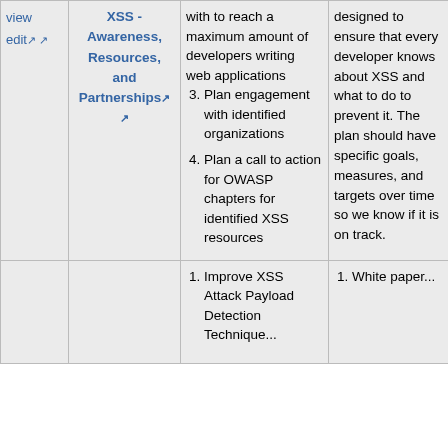| view edit🔗 | XSS - Awareness, Resources, and Partnerships🔗 | ...with to reach a maximum amount of developers writing web applications
3. Plan engagement with identified organizations
4. Plan a call to action for OWASP chapters for identified XSS resources | designed to ensure that every developer knows about XSS and what to do to prevent it. The plan should have specific goals, measures, and targets over time so we know if it is on track. |
|  |  | 1. Improve XSS Attack Payload Detection Technique... | 1. White paper... |